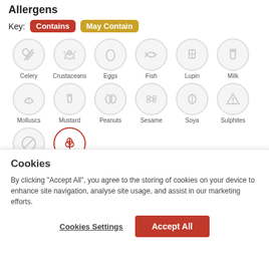Allergens
Key: Contains | May Contain
[Figure (infographic): Allergen icons grid showing: Celery (inactive), Crustaceans (inactive), Eggs (inactive), Fish (inactive), Lupin (inactive), Milk (inactive), Molluscs (inactive), Mustard (inactive), Peanuts (inactive), Sesame (inactive), Soya (inactive), Sulphites (inactive), and a partial row with one inactive icon and one active (Contains) wheat/gluten icon]
Cookies
By clicking “Accept All”, you agree to the storing of cookies on your device to enhance site navigation, analyse site usage, and assist in our marketing efforts.
Cookies Settings | Accept All